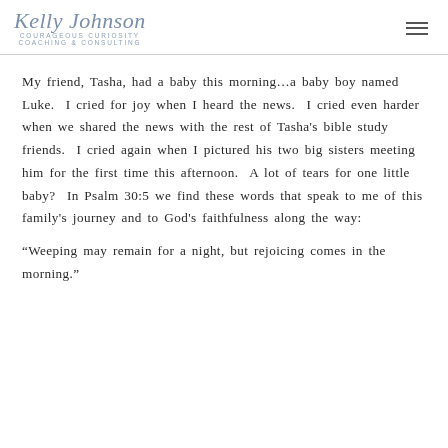Kelly Johnson Courageous Curiosity Coaching & Consulting
My friend, Tasha, had a baby this morning…a baby boy named Luke.  I cried for joy when I heard the news.  I cried even harder when we shared the news with the rest of Tasha's bible study friends.  I cried again when I pictured his two big sisters meeting him for the first time this afternoon.  A lot of tears for one little baby?  In Psalm 30:5 we find these words that speak to me of this family's journey and to God's faithfulness along the way:
“Weeping may remain for a night, but rejoicing comes in the morning.”